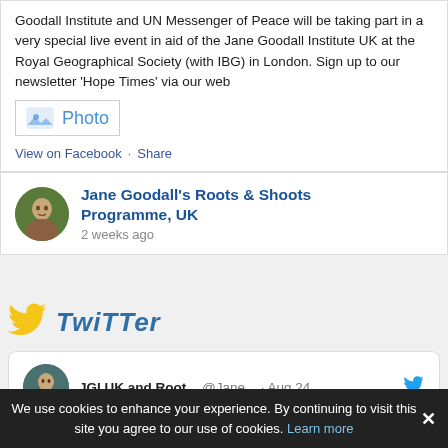Goodall Institute and UN Messenger of Peace will be taking part in a very special live event in aid of the Jane Goodall Institute UK at the Royal Geographical Society (with IBG) in London. Sign up to our newsletter ‘Hope Times’ via our web
[Figure (other): Photo placeholder box with image icon and label 'Photo']
View on Facebook · Share
Jane Goodall’s Roots & Shoots Programme, UK
2 weeks ago
TWITTER
JGI UK and Root... @Jane... · Aug 24
We’re excited that Dr Jane Goodall, DBE, will feature in @HillaryClinton &
We use cookies to enhance your experience. By continuing to visit this site you agree to our use of cookies. Learn more